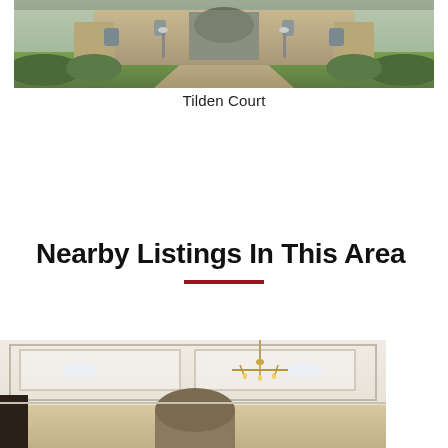[Figure (photo): Exterior photo of a large estate gate with stone architecture, arched entrance, driveway, and manicured bushes — Tilden Court]
Tilden Court
Nearby Listings In This Area
[Figure (photo): Interior photo of an elegant room with coffered ceiling, chandelier, recessed lighting, and decorative arch doorway]